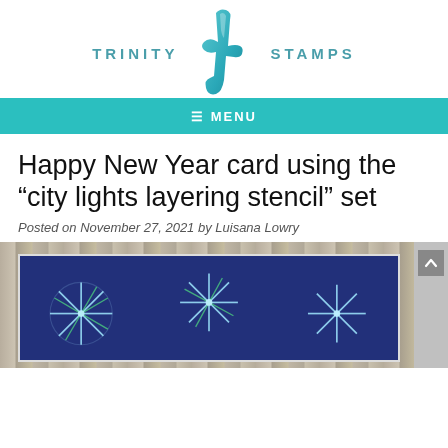[Figure (logo): Trinity Stamps logo with teal gradient 't' letterform and 'TRINITY STAMPS' text in teal]
≡ MENU
Happy New Year card using the “city lights layering stencil” set
Posted on November 27, 2021 by Luisana Lowry
[Figure (photo): Photograph of a handmade Happy New Year card with navy blue background featuring glittery firework designs made with the city lights layering stencil, placed on a light wood surface]